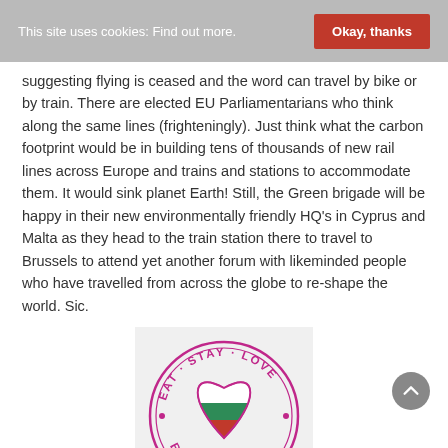This site uses cookies: Find out more.  Okay, thanks
suggesting flying is ceased and the word can travel by bike or by train. There are elected EU Parliamentarians who think along the same lines (frighteningly). Just think what the carbon footprint would be in building tens of thousands of new rail lines across Europe and trains and stations to accommodate them. It would sink planet Earth! Still, the Green brigade will be happy in their new environmentally friendly HQ's in Cyprus and Malta as they head to the train station there to travel to Brussels to attend yet another forum with likeminded people who have travelled from across the globe to re-shape the world. Sic.
[Figure (logo): Circular stamp logo with text 'EAT · STAY · LOVE' around the top and 'BULGARIA' at the bottom, with a heart shape in the center featuring the Bulgarian flag colors (white, green, red) in a pink/magenta color scheme.]
October 2021